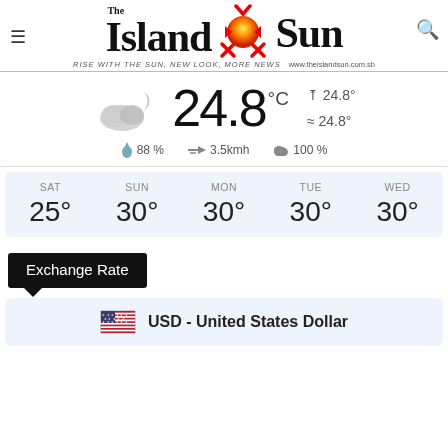[Figure (logo): The Island Sun newspaper logo with sun graphic, tagline 'RISE WITH THE SUN, NEW LOOK, MORE NEWS' and website www.theislandsun.com.sb]
[Figure (infographic): Weather widget showing 24.8°C with partly cloudy night icon, high 24.8°, low 24.8°, humidity 88%, wind 3.5kmh, cloud cover 100%]
| SAT | SUN | MON | TUE | WED |
| --- | --- | --- | --- | --- |
| 25° | 30° | 30° | 30° | 30° |
Exchange Rate
🇺🇸 USD - United States Dollar